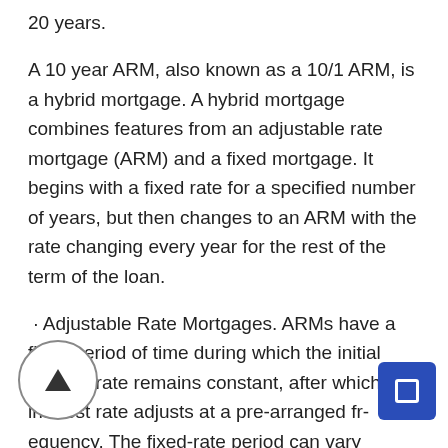20 years.
A 10 year ARM, also known as a 10/1 ARM, is a hybrid mortgage. A hybrid mortgage combines features from an adjustable rate mortgage (ARM) and a fixed mortgage. It begins with a fixed rate for a specified number of years, but then changes to an ARM with the rate changing every year for the rest of the term of the loan.
· Adjustable Rate Mortgages. ARMs have a fixed period of time during which the initial interest rate remains constant, after which the interest rate adjusts at a pre-arranged frequency. The fixed-rate period can vary significantly – anywhere from one month to 10